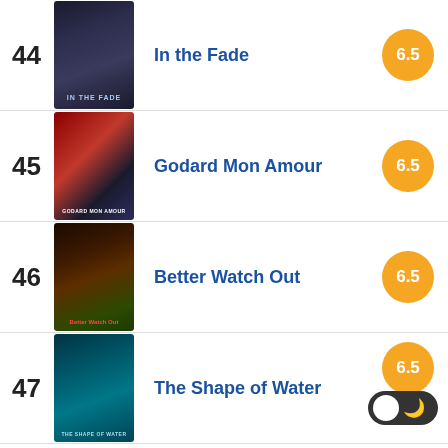44 In the Fade 6.5
45 Godard Mon Amour 6.5
46 Better Watch Out 6.5
47 The Shape of Water 6.5
48 (partial, score not visible)